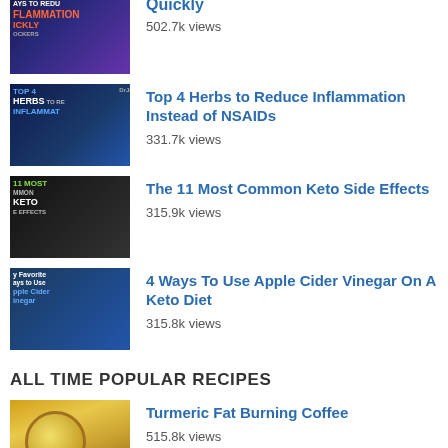[Figure (screenshot): Thumbnail for inflammation video - dark blue/purple background with text INFLAMMATION QUICKLY]
Quickly
502.7k views
[Figure (screenshot): Thumbnail for Top 4 Herbs video - dark blue background with text TOP 4 HERBS TO REDUCE INFLAMMATION]
Top 4 Herbs to Reduce Inflammation Instead of NSAIDs
331.7k views
[Figure (screenshot): Thumbnail for 11 Most Common Keto Side Effects video - dark background with text 11 MOST COMMON KETO SIDE EFFECTS]
The 11 Most Common Keto Side Effects
315.9k views
[Figure (screenshot): Thumbnail for Apple Cider Vinegar video - blue background with text My Favorite Ways to Use Apple Cider Vinegar]
4 Ways To Use Apple Cider Vinegar On A Keto Diet
315.8k views
ALL TIME POPULAR RECIPES
[Figure (screenshot): Thumbnail for Turmeric Fat Burning Coffee - golden yellow drink in a cup]
Turmeric Fat Burning Coffee
515.8k views